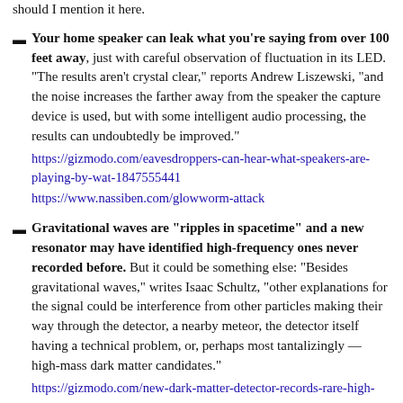should I mention it here.
Your home speaker can leak what you’re saying from over 100 feet away, just with careful observation of fluctuation in its LED. “The results aren’t crystal clear,” reports Andrew Liszewski, “and the noise increases the farther away from the speaker the capture device is used, but with some intelligent audio processing, the results can undoubtedly be improved.” https://gizmodo.com/eavesdroppers-can-hear-what-speakers-are-playing-by-wat-1847555441 https://www.nassiben.com/glowworm-attack
Gravitational waves are “ripples in spacetime” and a new resonator may have identified high-frequency ones never recorded before. But it could be something else: “Besides gravitational waves,” writes Isaac Schultz, “other explanations for the signal could be interference from other particles making their way through the detector, a nearby meteor, the detector itself having a technical problem, or, perhaps most tantalizingly — high-mass dark matter candidates.” https://gizmodo.com/new-dark-matter-detector-records-rare-high-